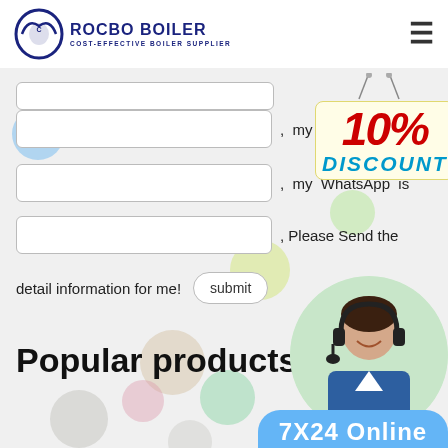ROCBO BOILER - COST-EFFECTIVE BOILER SUPPLIER
[Figure (screenshot): Web form with input fields for Email, WhatsApp, and a third field with submit button. Decorative bubbles in background. 10% DISCOUNT badge. Customer service representative photo in circular frame. Popular products section heading. 7X24 Online badge.]
, my Email is
, my WhatsApp is
, Please Send the detail information for me!
Popular products
7X24 Online